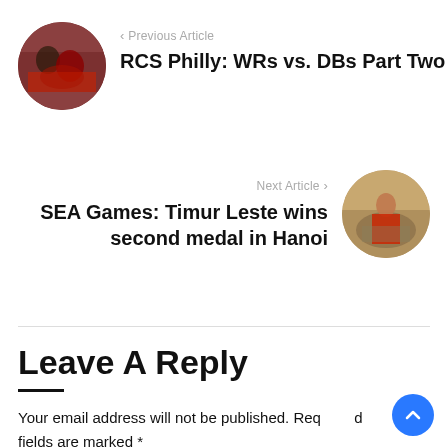[Figure (photo): Circular thumbnail of football players competing, red and black uniforms]
‹ Previous Article
RCS Philly: WRs vs. DBs Part Two
Next Article ›
SEA Games: Timur Leste wins second medal in Hanoi
[Figure (photo): Circular thumbnail of an athlete in red uniform celebrating at a stadium]
Leave A Reply
Your email address will not be published. Required fields are marked *